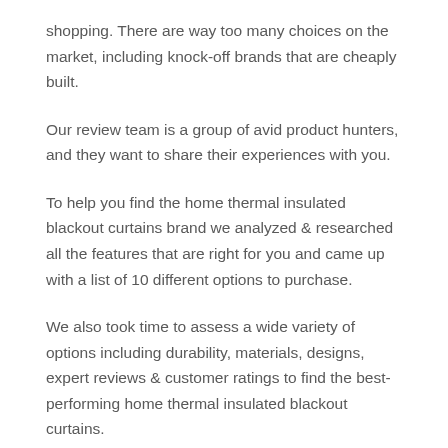shopping. There are way too many choices on the market, including knock-off brands that are cheaply built.
Our review team is a group of avid product hunters, and they want to share their experiences with you.
To help you find the home thermal insulated blackout curtains brand we analyzed & researched all the features that are right for you and came up with a list of 10 different options to purchase.
We also took time to assess a wide variety of options including durability, materials, designs, expert reviews & customer ratings to find the best-performing home thermal insulated blackout curtains.
The resulting review has in-depth details on specific performance areas, as well as recommendations for your goals and budget.